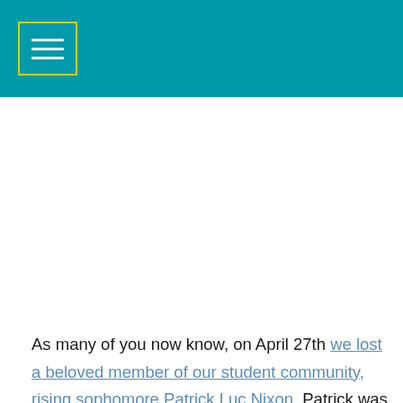Navigation menu header with teal background and menu icon
As many of you now know, on April 27th we lost a beloved member of our student community, rising sophomore Patrick Luc Nixon. Patrick was a member of our Development Committee, where his hard work, positivity, and insights were greatly valued. We wanted to share some memories and words from members of our Executive